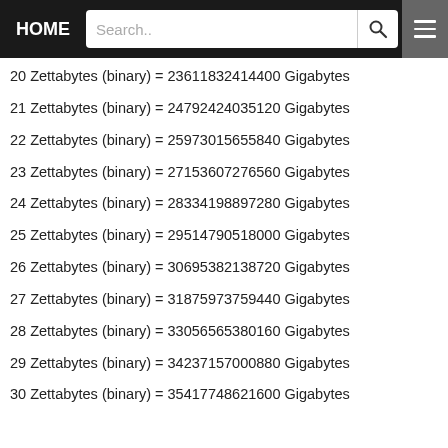HOME | Search..
20 Zettabytes (binary) = 23611832414400 Gigabytes
21 Zettabytes (binary) = 24792424035120 Gigabytes
22 Zettabytes (binary) = 25973015655840 Gigabytes
23 Zettabytes (binary) = 27153607276560 Gigabytes
24 Zettabytes (binary) = 28334198897280 Gigabytes
25 Zettabytes (binary) = 29514790518000 Gigabytes
26 Zettabytes (binary) = 30695382138720 Gigabytes
27 Zettabytes (binary) = 31875973759440 Gigabytes
28 Zettabytes (binary) = 33056565380160 Gigabytes
29 Zettabytes (binary) = 34237157000880 Gigabytes
30 Zettabytes (binary) = 35417748621600 Gigabytes